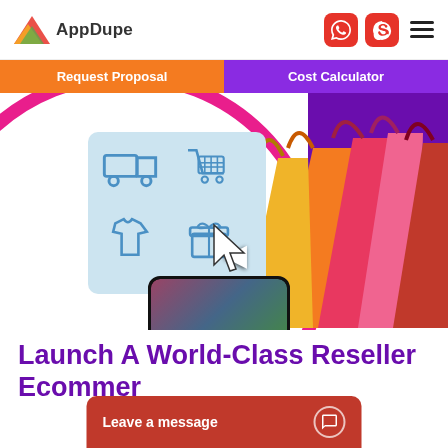AppDupe
[Figure (screenshot): AppDupe website screenshot showing logo with navigation icons (WhatsApp, Skype, hamburger menu), orange 'Request Proposal' and purple 'Cost Calculator' nav buttons, a hero section with magenta circle, ecommerce icons card, colorful shopping bags, phone mockup, and heading 'Launch A World-Class Reseller Ecommerce' with a 'Leave a message' chat bar at the bottom.]
Launch A World-Class Reseller Ecommerce